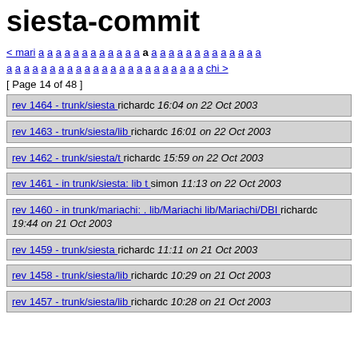siesta-commit
< mari a a a a a a a a a a a a a a a a a a a a a a a a a a a a a a a a a a a a a a a a a a a a a a a a a a a a chi > [ Page 14 of 48 ]
rev 1464 - trunk/siesta richardc 16:04 on 22 Oct 2003
rev 1463 - trunk/siesta/lib richardc 16:01 on 22 Oct 2003
rev 1462 - trunk/siesta/t richardc 15:59 on 22 Oct 2003
rev 1461 - in trunk/siesta: lib t simon 11:13 on 22 Oct 2003
rev 1460 - in trunk/mariachi: . lib/Mariachi lib/Mariachi/DBI richardc 19:44 on 21 Oct 2003
rev 1459 - trunk/siesta richardc 11:11 on 21 Oct 2003
rev 1458 - trunk/siesta/lib richardc 10:29 on 21 Oct 2003
rev 1457 - trunk/siesta/lib richardc 10:28 on 21 Oct 2003